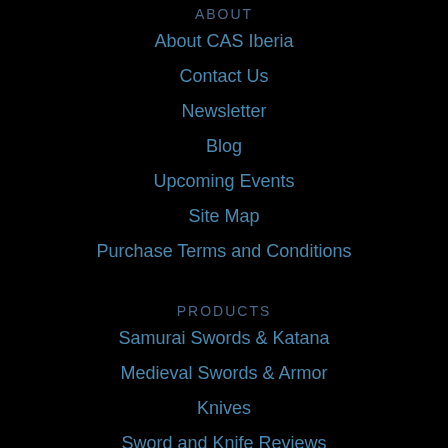ABOUT
About CAS Iberia
Contact Us
Newsletter
Blog
Upcoming Events
Site Map
Purchase Terms and Conditions
PRODUCTS
Samurai Swords & Katana
Medieval Swords & Armor
Knives
Sword and Knife Reviews
LARP
PRODUCTS
Collector Swords